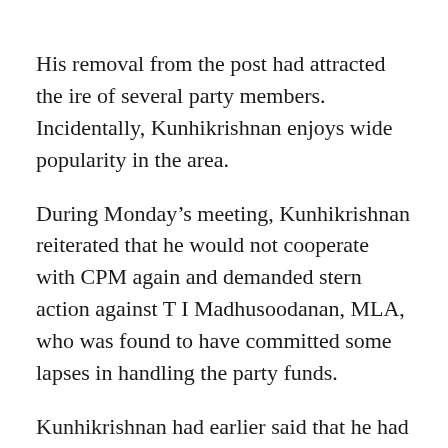His removal from the post had attracted the ire of several party members. Incidentally, Kunhikrishnan enjoys wide popularity in the area.
During Monday's meeting, Kunhikrishnan reiterated that he would not cooperate with CPM again and demanded stern action against T I Madhusoodanan, MLA, who was found to have committed some lapses in handling the party funds.
Kunhikrishnan had earlier said that he had not filed any complaint against anyone in the party and had only pointed out misappropriation of party funds. He had solely used party mechanisms for these efforts,